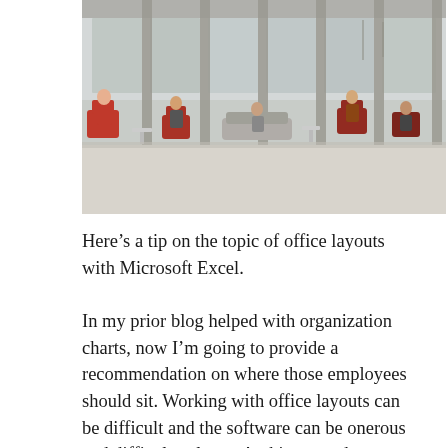[Figure (photo): Interior photo of a modern office or lobby space with large floor-to-ceiling windows, concrete columns, and people sitting in red and grey lounge chairs and sofas. The atmosphere is open-plan with a grey polished concrete floor.]
Here's a tip on the topic of office layouts with Microsoft Excel.
In my prior blog helped with organization charts, now I'm going to provide a recommendation on where those employees should sit. Working with office layouts can be difficult and the software can be onerous and difficult to learn. Architects and designers use